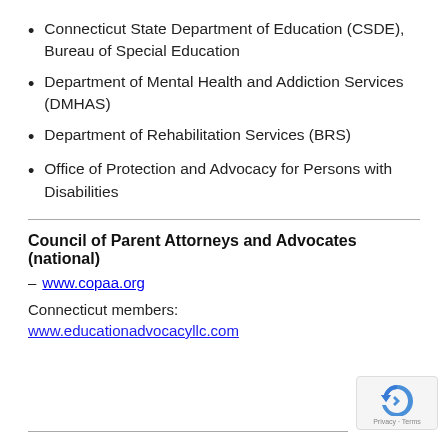Connecticut State Department of Education (CSDE), Bureau of Special Education
Department of Mental Health and Addiction Services (DMHAS)
Department of Rehabilitation Services (BRS)
Office of Protection and Advocacy for Persons with Disabilities
Council of Parent Attorneys and Advocates (national)
– www.copaa.org
Connecticut members:
www.educationadvocacyllc.com